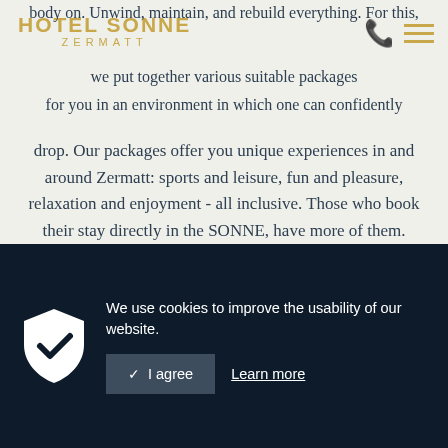HOTEL SONNE ZERMATT
body on. Unwind, maintain, and rebuild everything. For this, we put together various suitable packages for you in an environment in which one can confidently drop. Our packages offer you unique experiences in and around Zermatt: sports and leisure, fun and pleasure, relaxation and enjoyment - all inclusive. Those who book their stay directly in the SONNE, have more of them. Whether winter or summer, whether active or relaxing holidays: We have the best offer for you.
[Figure (screenshot): Cookie consent banner with shield checkmark icon, 'We use cookies to improve the usability of our website.' text, 'I agree' button and 'Learn more' link on dark navy background]